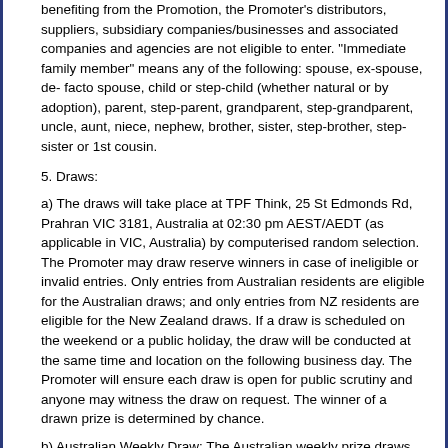benefiting from the Promotion, the Promoter's distributors, suppliers, subsidiary companies/businesses and associated companies and agencies are not eligible to enter. "Immediate family member" means any of the following: spouse, ex-spouse, de- facto spouse, child or step-child (whether natural or by adoption), parent, step-parent, grandparent, step-grandparent, uncle, aunt, niece, nephew, brother, sister, step-brother, step-sister or 1st cousin.
5. Draws:
a) The draws will take place at TPF Think, 25 St Edmonds Rd, Prahran VIC 3181, Australia at 02:30 pm AEST/AEDT (as applicable in VIC, Australia) by computerised random selection. The Promoter may draw reserve winners in case of ineligible or invalid entries. Only entries from Australian residents are eligible for the Australian draws; and only entries from NZ residents are eligible for the New Zealand draws. If a draw is scheduled on the weekend or a public holiday, the draw will be conducted at the same time and location on the following business day. The Promoter will ensure each draw is open for public scrutiny and anyone may witness the draw on request. The winner of a drawn prize is determined by chance.
b) Australian Weekly Draw: The Australian weekly prize draws will take place on 19/08/21, 26/08/21, 02/09/21, 09/09/21, 16/09/21, 23/09/21, 30/09/21, 07/10/21, 14/10/21, 21/10/21, 28/10/21, 04/11/21, 11/11/21, 18/11/21, 25/11/21, 02/12/21, 09/12/21, 16/12/21, 23/12/21, 30/12/21, 06/01/22, 13/01/22, 20/01/22, 27/01/22 and 03/02/22. Entries in each Australian